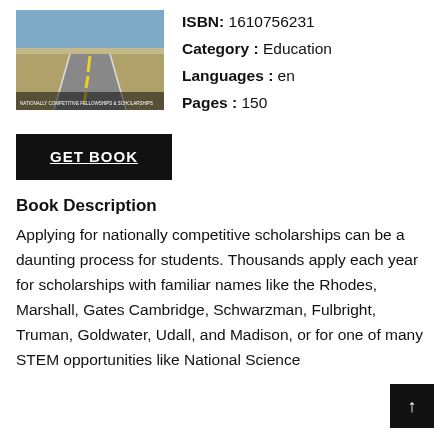[Figure (photo): Book cover showing a road with yellow center lines stretching into the distance through a flat, arid landscape with text overlay at bottom]
ISBN: 1610756231
Category : Education
Languages : en
Pages : 150
GET BOOK
Book Description
Applying for nationally competitive scholarships can be a daunting process for students. Thousands apply each year for scholarships with familiar names like the Rhodes, Marshall, Gates Cambridge, Schwarzman, Fulbright, Truman, Goldwater, Udall, and Madison, or for one of many STEM opportunities like National Science Foundation Graduate Research Fellowships,